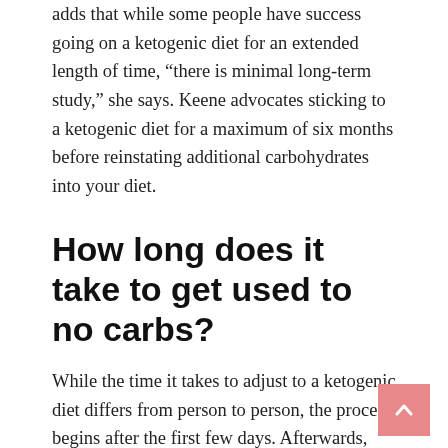adds that while some people have success going on a ketogenic diet for an extended length of time, “there is minimal long-term study,” she says. Keene advocates sticking to a ketogenic diet for a maximum of six months before reinstating additional carbohydrates into your diet.
How long does it take to get used to no carbs?
While the time it takes to adjust to a ketogenic diet differs from person to person, the process begins after the first few days. Afterwards, many low-carbers report that they suddenly begin to experience the favorable effects of keto-adaptation after